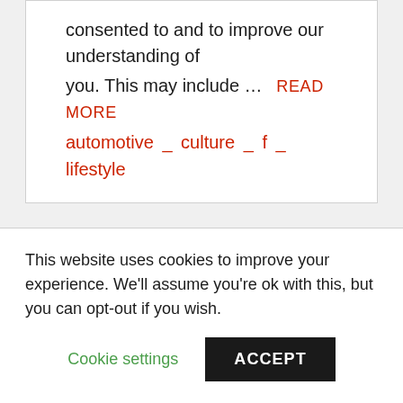consented to and to improve our understanding of you. This may include … READ MORE automotive _ culture _ f _ lifestyle
This website uses cookies to improve your experience. We'll assume you're ok with this, but you can opt-out if you wish.
Cookie settings   ACCEPT